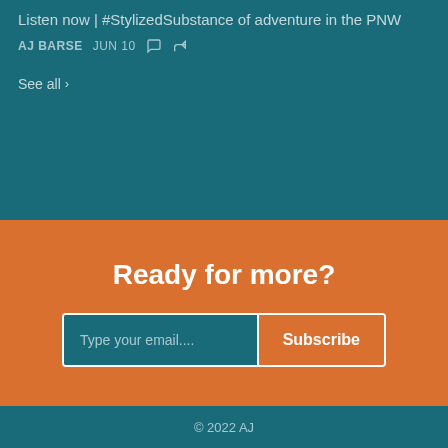Listen now | #StylizedSubstance of adventure in the PNW
AJ BARSE  JUN 10
See all ›
Ready for more?
Type your email.... Subscribe
© 2022 AJ